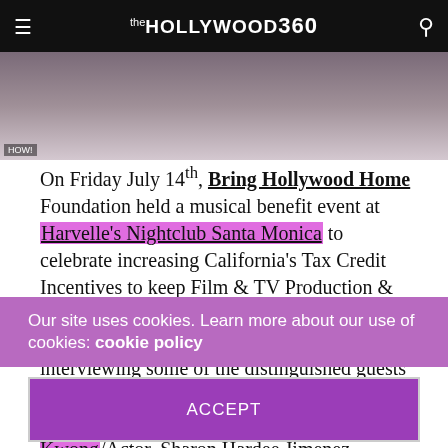the HOLLYWOOD 360
[Figure (photo): Partial photo showing two people at what appears to be an event, cropped at top of frame]
On Friday July 14th, Bring Hollywood Home Foundation held a musical benefit event at Harvelle's Nightclub Santa Monica to celebrate increasing California's Tax Credit Incentives to keep Film & TV Production & Post Production jobs in California. The Hollywood 360 was at the red carpet interviewing some of the distinguished guests such as Bill Duke/Actor/Producer/Director, Massi Furlan/Film & TV Actor, Peter Kwong/Actor, Sharon Hardee Jimenez, President Icon Imaging PR, /founder
Our site uses cookies. Learn more about our use of cookies: cookie policy
ACCEPT